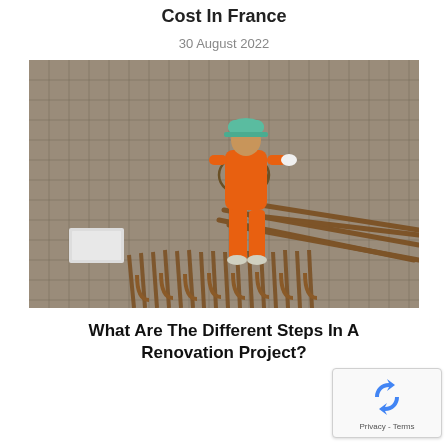Cost In France
30 August 2022
[Figure (photo): Aerial view of a construction worker in orange overalls and green hard hat walking on a steel rebar mesh construction site floor, with scattered metal rods and construction materials visible.]
What Are The Different Steps In A Renovation Project?